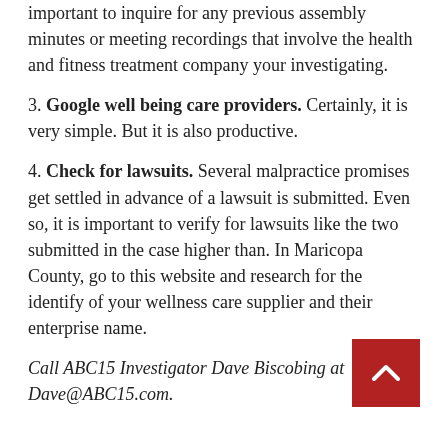important to inquire for any previous assembly minutes or meeting recordings that involve the health and fitness treatment company your investigating.
3. Google well being care providers. Certainly, it is very simple. But it is also productive.
4. Check for lawsuits. Several malpractice promises get settled in advance of a lawsuit is submitted. Even so, it is important to verify for lawsuits like the two submitted in the case higher than. In Maricopa County, go to this website and research for the identify of your wellness care supplier and their enterprise name.
Call ABC15 Investigator Dave Biscobing at Dave@ABC15.com.